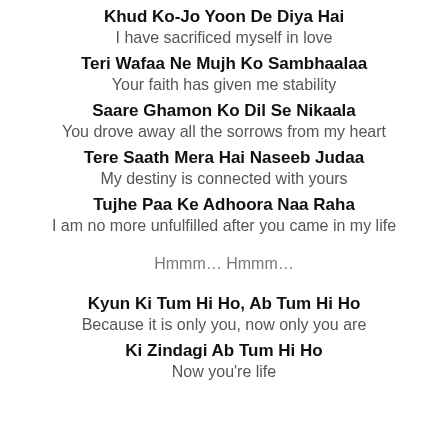Khud Ko-Jo Yoon De Diya Hai
I have sacrificed myself in love
Teri Wafaa Ne Mujh Ko Sambhaalaa
Your faith has given me stability
Saare Ghamon Ko Dil Se Nikaala
You drove away all the sorrows from my heart
Tere Saath Mera Hai Naseeb Judaa
My destiny is connected with yours
Tujhe Paa Ke Adhoora Naa Raha
I am no more unfulfilled after you came in my life
Hmmm… Hmmm…
Kyun Ki Tum Hi Ho, Ab Tum Hi Ho
Because it is only you, now only you are
Ki Zindagi Ab Tum Hi Ho
Now you're life